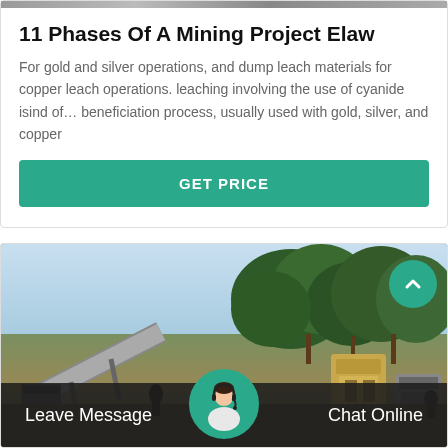[Figure (photo): Top strip showing partial photo of people at a mining site]
11 Phases Of A Mining Project Elaw
For gold and silver operations, and dump leach materials for copper leach operations. leaching involving the use of cyanide isind of… beneficiation process, usually used with gold, silver, and copper
GET PRICE
[Figure (photo): Outdoor photo of mining/crushing equipment with conveyor belts and machinery surrounded by trees against a blue sky. A scroll-up button is visible top-right. Bottom bar shows Leave Message and Chat Online with a customer service avatar.]